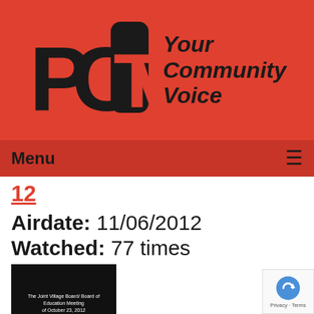[Figure (logo): PCTV logo with stylized letters PC and TV in dark color on red background, alongside tagline 'Your Community Voice' in bold italic]
Menu ≡
12
Airdate: 11/06/2012
Watched: 77 times
[Figure (screenshot): Dark thumbnail image with white text reading 'The Joint Village Board/ Board of Education Meeting of October 23, 2012']
The Board of Education Joint